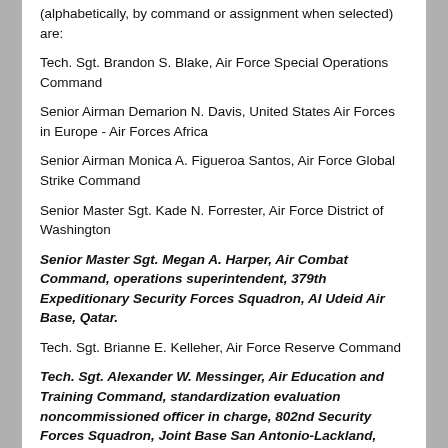(alphabetically, by command or assignment when selected) are:
Tech. Sgt. Brandon S. Blake, Air Force Special Operations Command
Senior Airman Demarion N. Davis, United States Air Forces in Europe - Air Forces Africa
Senior Airman Monica A. Figueroa Santos, Air Force Global Strike Command
Senior Master Sgt. Kade N. Forrester, Air Force District of Washington
Senior Master Sgt. Megan A. Harper, Air Combat Command, operations superintendent, 379th Expeditionary Security Forces Squadron, Al Udeid Air Base, Qatar.
Tech. Sgt. Brianne E. Kelleher, Air Force Reserve Command
Tech. Sgt. Alexander W. Messinger, Air Education and Training Command, standardization evaluation noncommissioned officer in charge, 802nd Security Forces Squadron, Joint Base San Antonio-Lackland, Texas.